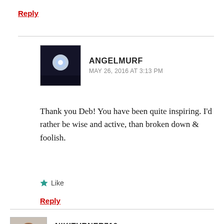Reply
ANGELMURF
MAY 26, 2016 AT 3:13 PM
Thank you Deb! You have been quite inspiring. I’d rather be wise and active, than broken down & foolish.
★ Like
Reply
NIKITURNER716
MAY 27, 2016 AT 1:00 AM
I love you, I’m very experienced with banking